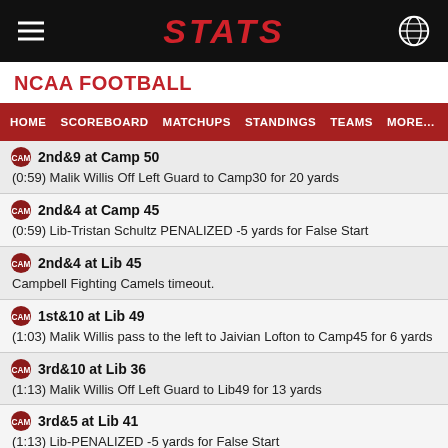STATS
NCAA FOOTBALL
HOME  SCOREBOARD  MATCHUPS  STANDINGS  TEAMS  MORE...
2nd&9 at Camp 50
(0:59) Malik Willis Off Left Guard to Camp30 for 20 yards
2nd&4 at Camp 45
(0:59) Lib-Tristan Schultz PENALIZED -5 yards for False Start
2nd&4 at Lib 45
Campbell Fighting Camels timeout.
1st&10 at Lib 49
(1:03) Malik Willis pass to the left to Jaivian Lofton to Camp45 for 6 yards
3rd&10 at Lib 36
(1:13) Malik Willis Off Left Guard to Lib49 for 13 yards
3rd&5 at Lib 41
(1:13) Lib-PENALIZED -5 yards for False Start
2nd&8 at Lib 38
(1:53) Shedro Louis Off Left Tackle to Lib41 for 3 yards